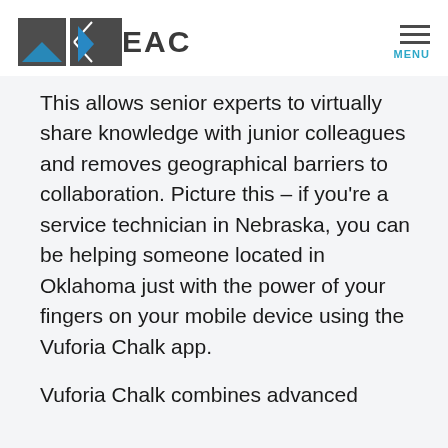EAC | MENU
This allows senior experts to virtually share knowledge with junior colleagues and removes geographical barriers to collaboration. Picture this – if you're a service technician in Nebraska, you can be helping someone located in Oklahoma just with the power of your fingers on your mobile device using the Vuforia Chalk app.
Vuforia Chalk combines advanced